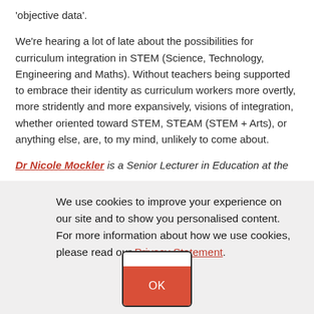'objective data'.
We're hearing a lot of late about the possibilities for curriculum integration in STEM (Science, Technology, Engineering and Maths). Without teachers being supported to embrace their identity as curriculum workers more overtly, more stridently and more expansively, visions of integration, whether oriented toward STEM, STEAM (STEM + Arts), or anything else, are, to my mind, unlikely to come about.
Dr Nicole Mockler is a Senior Lecturer in Education at the
We use cookies to improve your experience on our site and to show you personalised content. For more information about how we use cookies, please read our Privacy Statement.